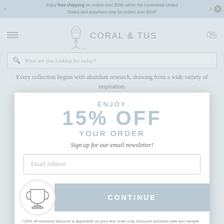Enjoy free shipping on orders over $200 within the continental United States and anywhere else for orders over $500!
[Figure (logo): Coral & Tusk logo with tree and fish illustration]
[Figure (screenshot): Search bar with placeholder text 'What are you looking for today?']
Every collection begins with abundant research, drawing from a wide variety of inspiration.
ENJOY
15% OFF
YOUR ORDER
Sign up for our email newsletter!
Email Address
CONTINUE
*15% off welcome discount is applicable on your first order only. Discount excludes sale and sample sale items, collaboration items and original artwork.